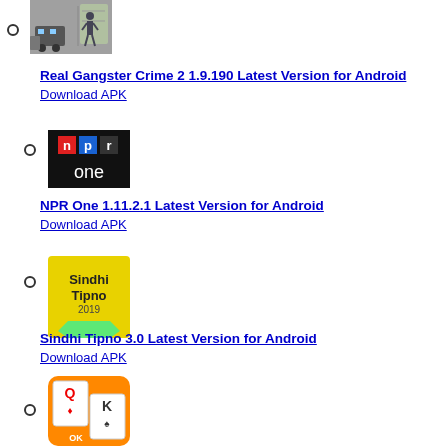[Figure (screenshot): Gangster crime game app icon showing a street scene with a car and person]
Real Gangster Crime 2 1.9.190 Latest Version for Android
Download APK
[Figure (logo): NPR One app icon with NPR letters and 'one' text on dark background]
NPR One 1.11.2.1 Latest Version for Android
Download APK
[Figure (logo): Sindhi Tipno 2019 app icon - yellow badge style icon]
Sindhi Tipno 3.0 Latest Version for Android
Download APK
[Figure (screenshot): OK casino card game app icon with colorful playing card design]